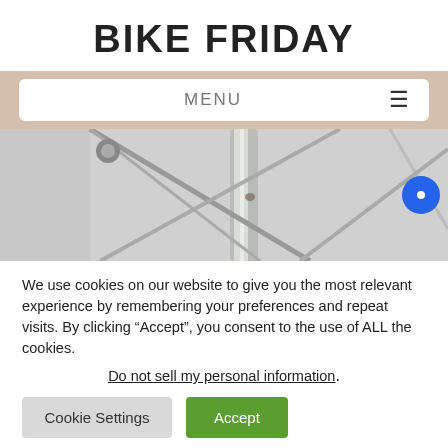BIKE FRIDAY
[Figure (screenshot): Navigation bar with MENU label and hamburger icon on tan/beige background]
[Figure (photo): Close-up photo of metallic bicycle frame tubes/spokes against a light background]
We use cookies on our website to give you the most relevant experience by remembering your preferences and repeat visits. By clicking “Accept”, you consent to the use of ALL the cookies.
Do not sell my personal information.
Cookie Settings
Accept